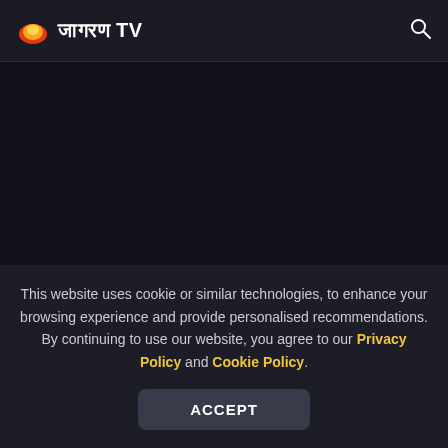जागरण TV
Tejasswi Prakash and Karan Kundrra aka TejaRan (Affectionately called by their fans) have been the target of trolling and criticism since they made their relationship
This website uses cookie or similar technologies, to enhance your browsing experience and provide personalised recommendations. By continuing to use our website, you agree to our Privacy Policy and Cookie Policy.
ACCEPT